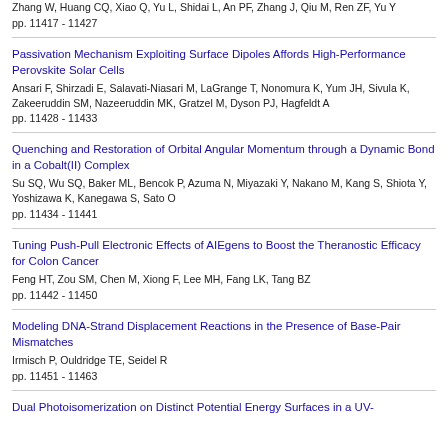Zhang W, Huang CQ, Xiao Q, Yu L, Shidai L, An PF, Zhang J, Qiu M, Ren ZF, Yu Y
pp. 11417 - 11427
Passivation Mechanism Exploiting Surface Dipoles Affords High-Performance Perovskite Solar Cells
Ansari F, Shirzadi E, Salavati-Niasari M, LaGrange T, Nonomura K, Yum JH, Sivula K, Zakeeruddin SM, Nazeeruddin MK, Gratzel M, Dyson PJ, Hagfeldt A
pp. 11428 - 11433
Quenching and Restoration of Orbital Angular Momentum through a Dynamic Bond in a Cobalt(II) Complex
Su SQ, Wu SQ, Baker ML, Bencok P, Azuma N, Miyazaki Y, Nakano M, Kang S, Shiota Y, Yoshizawa K, Kanegawa S, Sato O
pp. 11434 - 11441
Tuning Push-Pull Electronic Effects of AIEgens to Boost the Theranostic Efficacy for Colon Cancer
Feng HT, Zou SM, Chen M, Xiong F, Lee MH, Fang LK, Tang BZ
pp. 11442 - 11450
Modeling DNA-Strand Displacement Reactions in the Presence of Base-Pair Mismatches
Irmisch P, Ouldridge TE, Seidel R
pp. 11451 - 11463
Dual Photoisomerization on Distinct Potential Energy Surfaces in a UV-